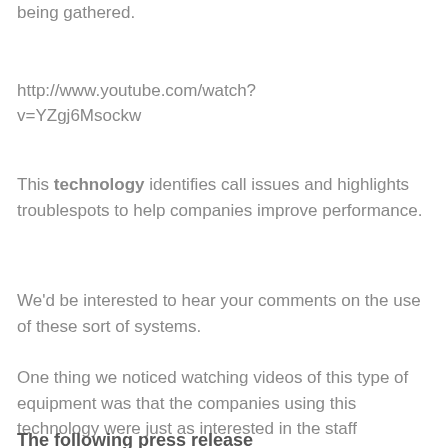being gathered.
http://www.youtube.com/watch?v=YZgj6Msockw
This technology identifies call issues and highlights troublespots to help companies improve performance.
We'd be interested to hear your comments on the use of these sort of systems.
One thing we noticed watching videos of this type of equipment was that the companies using this technology were just as interested in the staff contribution to the call as they were in the customer.
The following press release